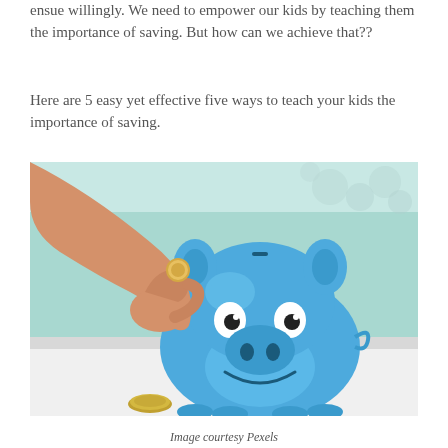ensue willingly. We need to empower our kids by teaching them the importance of saving. But how can we achieve that??
Here are 5 easy yet effective five ways to teach your kids the importance of saving.
[Figure (photo): A hand inserting a coin into a blue smiling piggy bank on a white surface, with another coin lying on the table beside it. Background shows a teal/aqua wall.]
Image courtesy Pexels